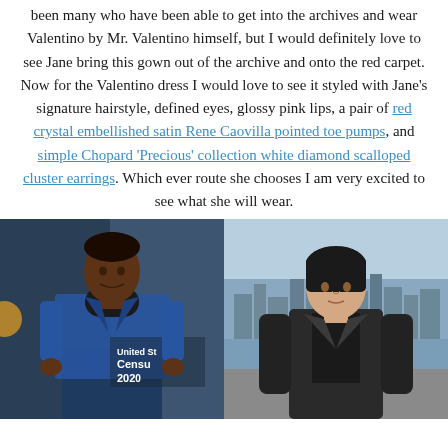been many who have been able to get into the archives and wear Valentino by Mr. Valentino himself, but I would definitely love to see Jane bring this gown out of the archive and onto the red carpet. Now for the Valentino dress I would love to see it styled with Jane's signature hairstyle, defined eyes, glossy pink lips, a pair of red crystal embellished satin Rene Caovilla pointed toe pumps, and simple Chopard 'Precious' collection white diamond scalloped cluster earrings. Which ever route she chooses I am very excited to see what she will wear.
[Figure (photo): Two side-by-side photos: left shows a Black man in a blue turtleneck and blue suit jacket at what appears to be a United States Census 2020 event; right shows a young white man in a dark jacket outdoors with a city skyline in the background.]